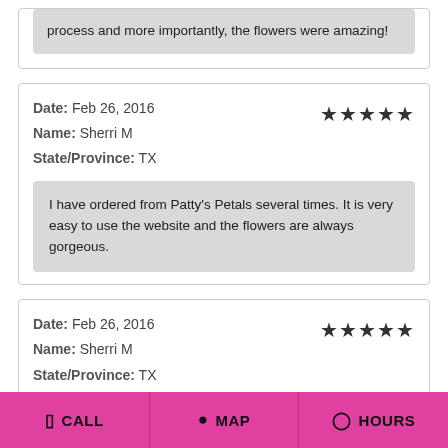process and more importantly, the flowers were amazing!
Date: Feb 26, 2016
Name: Sherri M
State/Province: TX
I have ordered from Patty's Petals several times. It is very easy to use the website and the flowers are always gorgeous.
Date: Feb 26, 2016
Name: Sherri M
State/Province: TX
CALL   MAP   HOURS